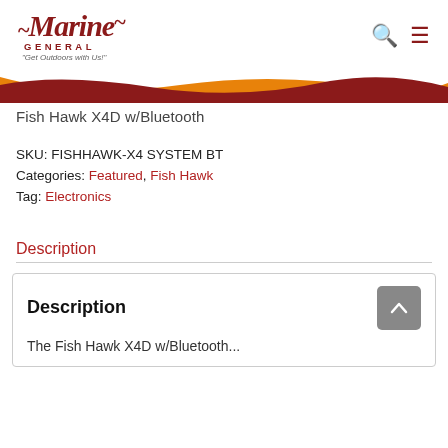Marine General - "Get Outdoors with Us!"
Fish Hawk X4D w/Bluetooth
SKU: FISHHAWK-X4 SYSTEM BT
Categories: Featured, Fish Hawk
Tag: Electronics
Description
Description
The Fish Hawk X4D w/Bluetooth...